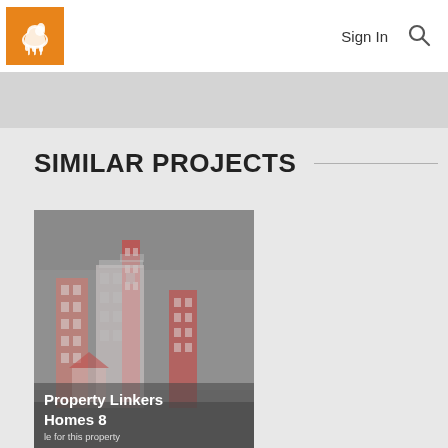[Figure (logo): Orange square logo with white lion silhouette]
Sign In
[Figure (other): Search magnifying glass icon]
SIMILAR PROJECTS
[Figure (illustration): Property card showing stylized building illustration in muted red and white tones on gray background]
Property Linkers Homes 8
le for this property